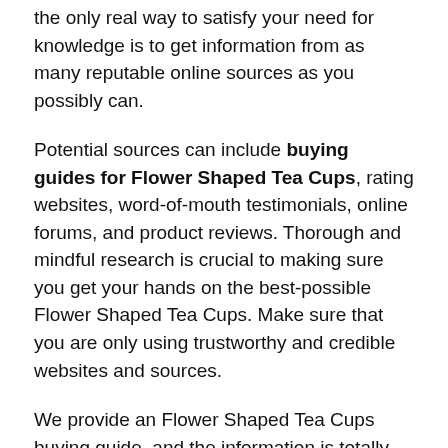the only real way to satisfy your need for knowledge is to get information from as many reputable online sources as you possibly can.
Potential sources can include buying guides for Flower Shaped Tea Cups, rating websites, word-of-mouth testimonials, online forums, and product reviews. Thorough and mindful research is crucial to making sure you get your hands on the best-possible Flower Shaped Tea Cups. Make sure that you are only using trustworthy and credible websites and sources.
We provide an Flower Shaped Tea Cups buying guide, and the information is totally objective and authentic. We employ both AI and big data in proofreading the collected information. How did we create this buying guide? We did it using a custom-created selection of algorithms that lets us manifest a top-10 list of the best available Flower Shaped Tea Cups currently available on the market.